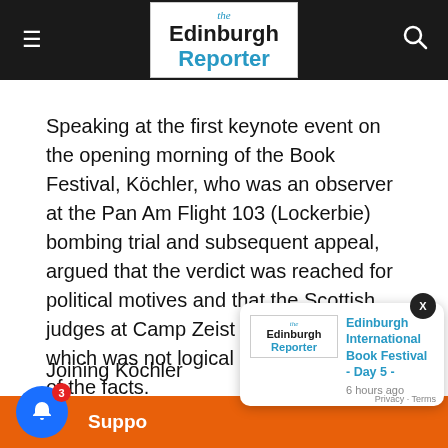the Edinburgh Reporter
Speaking at the first keynote event on the opening morning of the Book Festival, Köchler, who was an observer at the Pan Am Flight 103 (Lockerbie) bombing trial and subsequent appeal, argued that the verdict was reached for political motives and that the Scottish judges at Camp Zeist passed a ruling which was not logical upon examination of the facts.
Joining Köchler
[Figure (screenshot): Popup notification card from Edinburgh Reporter showing 'Edinburgh International Book Festival - Day 5 - 6 hours ago']
e Lockerbie bombing of 1988